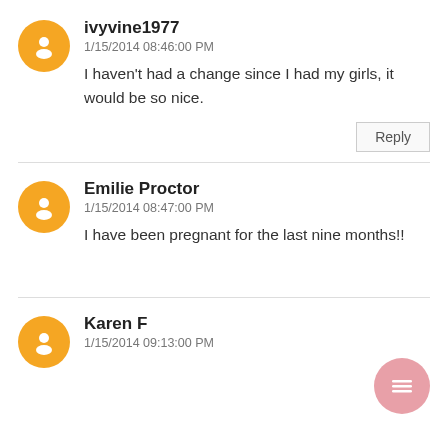ivyvine1977
1/15/2014 08:46:00 PM
I haven't had a change since I had my girls, it would be so nice.
Reply
Emilie Proctor
1/15/2014 08:47:00 PM
I have been pregnant for the last nine months!!
Karen F
1/15/2014 09:13:00 PM